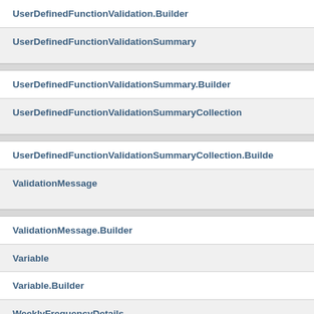UserDefinedFunctionValidation.Builder
UserDefinedFunctionValidationSummary
UserDefinedFunctionValidationSummary.Builder
UserDefinedFunctionValidationSummaryCollection
UserDefinedFunctionValidationSummaryCollection.Builder
ValidationMessage
ValidationMessage.Builder
Variable
Variable.Builder
WeeklyFrequencyDetails
WeeklyFrequencyDetails.Builder